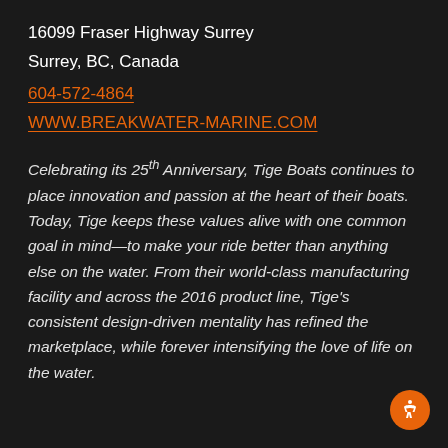16099 Fraser Highway Surrey
Surrey, BC, Canada
604-572-4864
WWW.BREAKWATER-MARINE.COM
Celebrating its 25th Anniversary, Tige Boats continues to place innovation and passion at the heart of their boats. Today, Tige keeps these values alive with one common goal in mind—to make your ride better than anything else on the water. From their world-class manufacturing facility and across the 2016 product line, Tige's consistent design-driven mentality has refined the marketplace, while forever intensifying the love of life on the water.